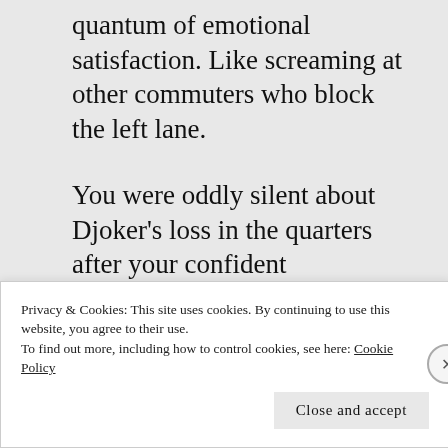quantum of emotional satisfaction. Like screaming at other commuters who block the left lane.
You were oddly silent about Djoker’s loss in the quarters after your confident declaration that he would sweep aside the pestilential Spaniard given
Privacy & Cookies: This site uses cookies. By continuing to use this website, you agree to their use.
To find out more, including how to control cookies, see here: Cookie Policy
Close and accept